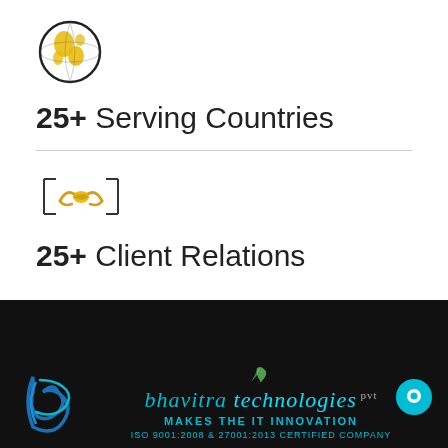[Figure (illustration): Globe icon with yellow landmasses and dark circle outline]
25+ Serving Countries
[Figure (illustration): Handshake icon with decorative bracket lines on sides]
25+ Client Relations
[Figure (logo): Bhavitra Technologies Pvt Ltd company logo and footer with ISO certification text on dark background]